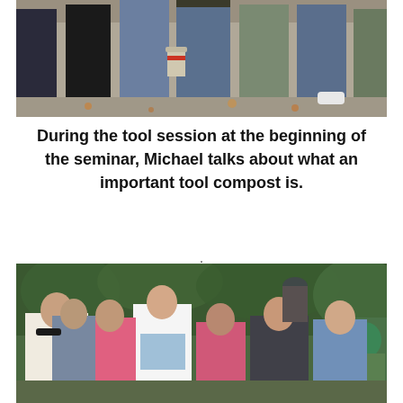[Figure (photo): A group of people standing outdoors near a stone wall, showing their lower bodies from waist down — wearing jeans, black pants, and casual clothing, with buckets visible in background.]
During the tool session at the beginning of the seminar, Michael talks about what an important tool compost is.
[Figure (photo): A group of women and men gathered outdoors in a garden area with green foliage behind them. Several are wearing pink shirts. One woman in a white jacket stands centrally. They appear to be looking downward at something during a seminar or demonstration.]